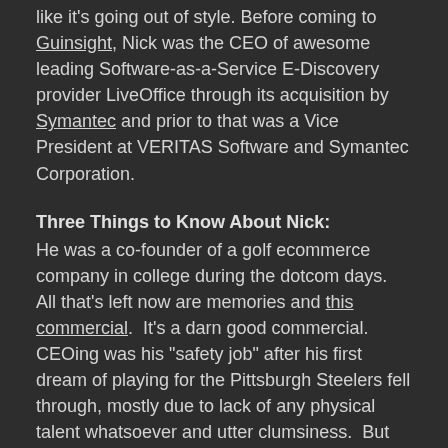like it's going out of style. Before coming to Guinsight, Nick was the CEO of awesome leading Software-as-a-Service E-Discovery provider LiveOffice through its acquisition by Symantec and prior to that was a Vice President at VERITAS Software and Symantec Corporation.
Three Things to Know About Nick:
He was a co-founder of a golf ecommerce company in college during the dotcom days.  All that's left now are memories and this commercial.  It's a darn good commercial. CEOing was his "safety job" after his first dream of playing for the Pittsburgh Steelers fell through, mostly due to lack of any physical talent whatsoever and utter clumsiness.  But he did make the Bill Simmons Football Mailbag once! Because of their football obsession, he and his wife are raising their 3 young children in brazen, North Korea-style Pittsburgh Steelers brainwashing.
SUBSCRIBE TO METAPHYSICAL